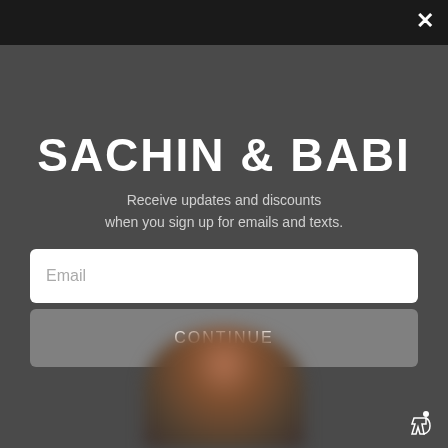[Figure (screenshot): Dark overlay background with a blurred fashion/model image behind a modal popup]
SACHIN & BABI
Receive updates and discounts when you sign up for emails and texts.
Email
CONTINUE